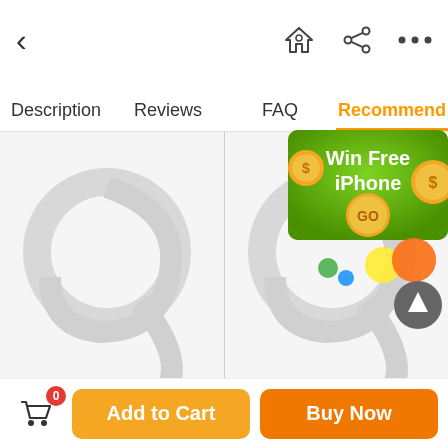< [back] [home icon] [share icon] [more icon]
Description  Reviews  FAQ  Recommend
[Figure (screenshot): Two product placeholder images side by side with watermark swirl patterns, left product labeled 'Stainless Steel Cute', right labeled 'Egg Tart Mould Set,']
[Figure (infographic): Win Free iPhone promotional popup with green background, gold dollar coins, GO button, and colorful bouncing balls overlay]
Stainless Steel Cute
Egg Tart Mould Set,
Cart (0)  Add to Cart  Buy Now